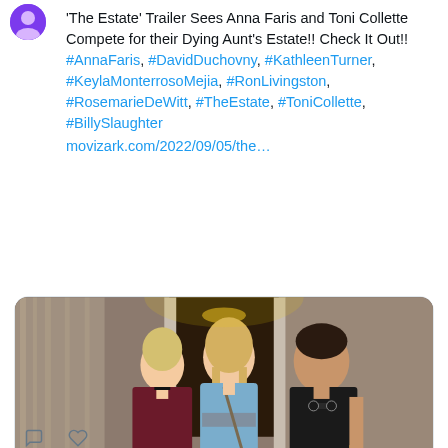'The Estate' Trailer Sees Anna Faris and Toni Collette Compete for their Dying Aunt's Estate!! Check It Out!! #AnnaFaris, #DavidDuchovny, #KathleenTurner, #KeylaMonterrosoMejia, #RonLivingston, #RosemarieDeWitt, #TheEstate, #ToniCollette, #BillySlaughter movizark.com/2022/09/05/the...
[Figure (photo): Movie still from 'The Estate' showing three actors — a blonde woman in a burgundy jacket, a tall woman in a blue dress, and a dark-haired man in a black t-shirt — standing in front of a house doorway.]
movizark.com
'The Estate' Trailer Sees Anna Faris and Toni Collette Compete for their Dying Aunt's ...